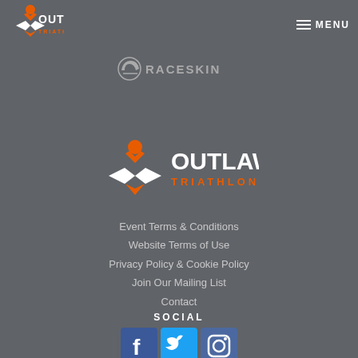[Figure (logo): Outlaw Triathlon logo top left — orange hourglass/person icon with OUTLAW text and TRIATHLON below]
[Figure (logo): MENU hamburger button top right]
[Figure (logo): RACESKIN logo centered with helmet icon]
[Figure (logo): Outlaw Triathlon large footer logo — orange and white]
Event Terms & Conditions
Website Terms of Use
Privacy Policy & Cookie Policy
Join Our Mailing List
Contact
SOCIAL
[Figure (infographic): Three social media icons: Facebook (blue), Twitter (cyan), Instagram (purple/blue)]